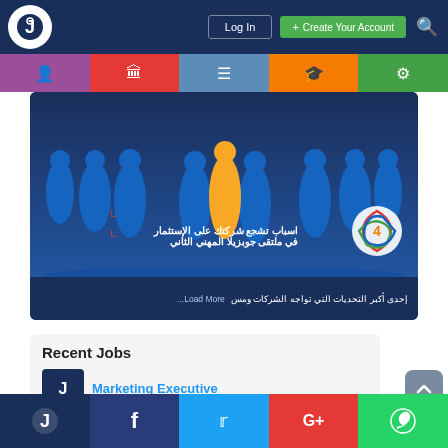Log In | Create Your Account
[Figure (screenshot): Navigation bar with logo, Log In button, Create Your Account green button, and search icon on dark navy background]
[Figure (infographic): Colored icon tab bar with person, building, menu, graduation cap, and settings icons in purple, red, blue, orange, green]
[Figure (illustration): Banner showing blue silhouettes of people standing with one highlighted in yellow/orange, Arabic text overlay: اسباب تشجع شركتك على الإستثمار في ملتقى جوبزيلا المهني الثاني, with colorful logo]
Load More... إحدى أكبر التحديات التي تواجه الشركات ومس
Recent Jobs
Marketing Executive
Social icons: home, Facebook, Twitter, Google+, WhatsApp